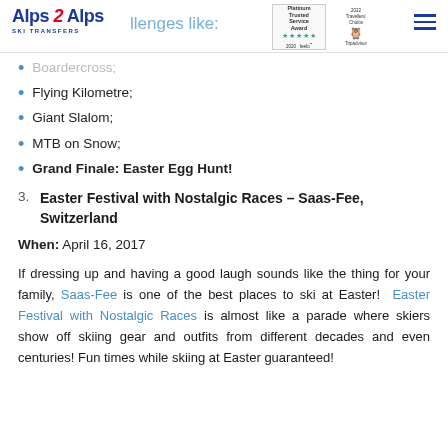Alps 2 Alps SKI TRANSFERS | Platinum Trusted Service Award 2020 feefo | Travellers' Choice Tripadvisor
Boardercross;
Flying Kilometre;
Giant Slalom;
MTB on Snow;
Grand Finale: Easter Egg Hunt!
3. Easter Festival with Nostalgic Races – Saas-Fee, Switzerland
When: April 16, 2017
If dressing up and having a good laugh sounds like the thing for your family, Saas-Fee is one of the best places to ski at Easter! Easter Festival with Nostalgic Races is almost like a parade where skiers show off skiing gear and outfits from different decades and even centuries! Fun times while skiing at Easter guaranteed!